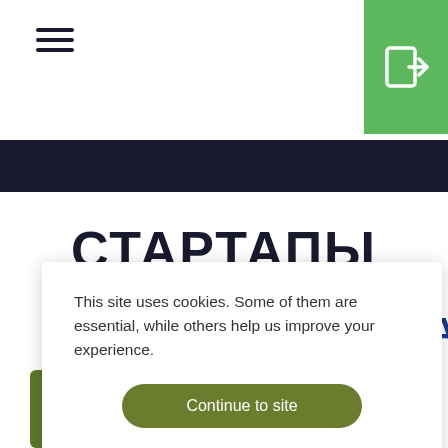Navigation header with hamburger menu and login button
[Figure (screenshot): Black navigation bar below the white header]
СТАРТАПЫ
This site uses cookies. Some of them are essential, while others help us improve your experience.
Continue to site
Preferences
[Figure (logo): Clym logo with green checkmark V]
[Figure (logo): Partial blue logo text OPTIMIZATION visible behind popup]